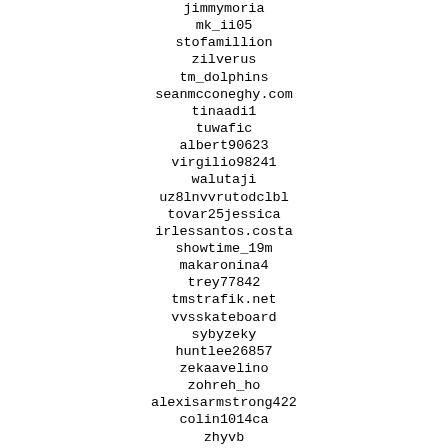jimmymoria
mk_ii05
stofamillion
zilverus
tm_dolphins
seanmcconeghy.com
tinaadi1
tuwafic
albert90623
virgilio98241
walutaji
uz8lnvvrutodclbl
tovar25jessica
irlessantos.costa
showtime_19m
makaronina4
trey77842
tmstrafik.net
vvsskateboard
sybyzeky
huntlee26857
zekaavelino
zohreh_ho
alexisarmstrong422
colin1014ca
zhyvb
suman_kingra
gil78355
mz.calliopebarbie
wasddsawwasddsawwasd
ulric5294